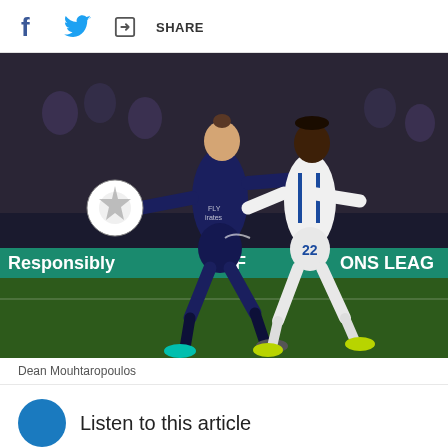f [facebook icon] [twitter icon] [share icon] SHARE
[Figure (photo): Two soccer players competing for the ball during a UEFA Champions League match. Player in dark navy blue PSG jersey (#7 Zlatan Ibrahimovic) battles for the ball against a player in white jersey with number 22. A Champions League ball is visible to the left. A green field pitch and a teal/green advertising board reading 'Responsibly', 'UEFA', 'ONS LEAGUE' is visible in the background, along with spectators in the stands.]
Dean Mouhtaropoulos
Listen to this article